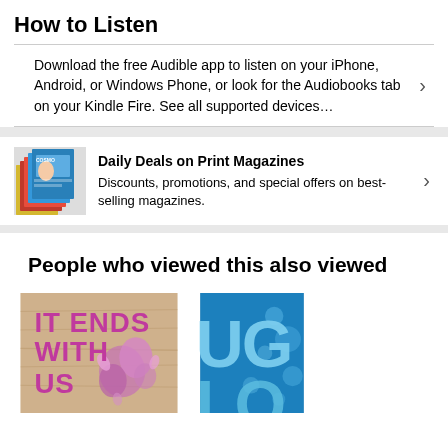How to Listen
Download the free Audible app to listen on your iPhone, Android, or Windows Phone, or look for the Audiobooks tab on your Kindle Fire. See all supported devices…
[Figure (illustration): Stack of colorful print magazines]
Daily Deals on Print Magazines
Discounts, promotions, and special offers on best-selling magazines.
People who viewed this also viewed
[Figure (photo): Book cover: IT ENDS WITH US, pink floral design on wood background]
[Figure (photo): Book cover partially visible, blue background with large letters]